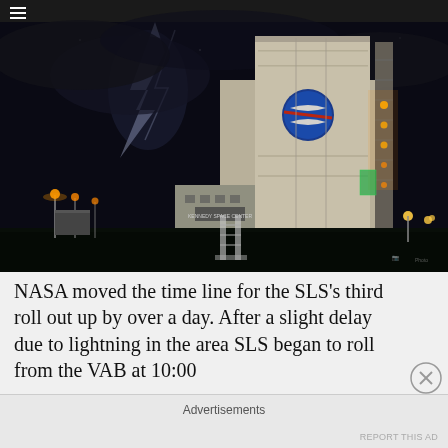[Figure (photo): Night photo of NASA's Vehicle Assembly Building (VAB) at Kennedy Space Center. A large beige/grey building with the NASA logo (blue meatball) visible on the facade, lit up at night. Lightning strikes visible in the dark stormy sky to the left. Orange lights illuminate the surrounding area and access tower on the right side. Dark foreground with grass and some structures.]
NASA moved the time line for the SLS's third roll out up by over a day. After a slight delay due to lightning in the area SLS began to roll from the VAB at 10:00
Advertisements